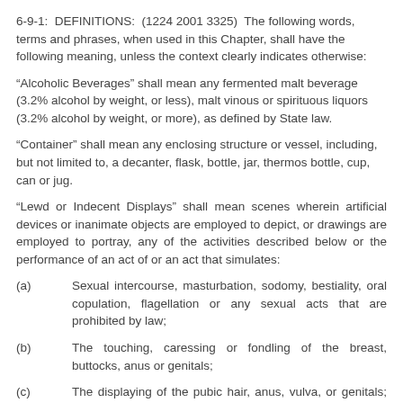6-9-1: DEFINITIONS: (1224 2001 3325) The following words, terms and phrases, when used in this Chapter, shall have the following meaning, unless the context clearly indicates otherwise:
“Alcoholic Beverages” shall mean any fermented malt beverage (3.2% alcohol by weight, or less), malt vinous or spirituous liquors (3.2% alcohol by weight, or more), as defined by State law.
“Container” shall mean any enclosing structure or vessel, including, but not limited to, a decanter, flask, bottle, jar, thermos bottle, cup, can or jug.
“Lewd or Indecent Displays” shall mean scenes wherein artificial devices or inanimate objects are employed to depict, or drawings are employed to portray, any of the activities described below or the performance of an act of or an act that simulates:
(a)   Sexual intercourse, masturbation, sodomy, bestiality, oral copulation, flagellation or any sexual acts that are prohibited by law;
(b)   The touching, caressing or fondling of the breast, buttocks, anus or genitals;
(c)   The displaying of the pubic hair, anus, vulva, or genitals; or